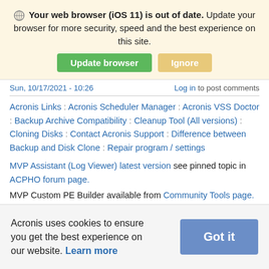Your web browser (iOS 11) is out of date. Update your browser for more security, speed and the best experience on this site.
Sun, 10/17/2021 - 10:26   Log in to post comments
Acronis Links : Acronis Scheduler Manager : Acronis VSS Doctor : Backup Archive Compatibility : Cleanup Tool (All versions) : Cloning Disks : Contact Acronis Support : Difference between Backup and Disk Clone : Repair program / settings
MVP Assistant (Log Viewer) latest version see pinned topic in ACPHO forum page.
MVP Custom PE Builder available from Community Tools page.
Acronis True Image User Guides available from Product
Acronis uses cookies to ensure you get the best experience on our website. Learn more